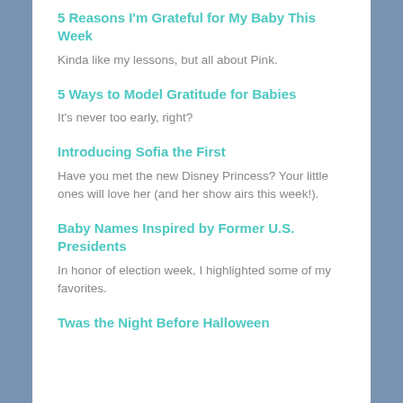5 Reasons I'm Grateful for My Baby This Week
Kinda like my lessons, but all about Pink.
5 Ways to Model Gratitude for Babies
It's never too early, right?
Introducing Sofia the First
Have you met the new Disney Princess? Your little ones will love her (and her show airs this week!).
Baby Names Inspired by Former U.S. Presidents
In honor of election week, I highlighted some of my favorites.
Twas the Night Before Halloween